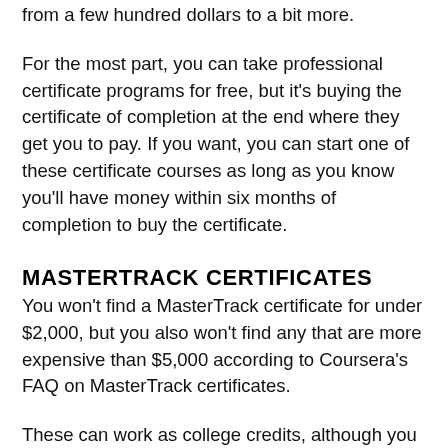from a few hundred dollars to a bit more.
For the most part, you can take professional certificate programs for free, but it's buying the certificate of completion at the end where they get you to pay. If you want, you can start one of these certificate courses as long as you know you'll have money within six months of completion to buy the certificate.
MASTERTRACK CERTIFICATES
You won't find a MasterTrack certificate for under $2,000, but you also won't find any that are more expensive than $5,000 according to Coursera's FAQ on MasterTrack certificates.
These can work as college credits, although you do have to be careful about how you pursue it. That makes it worthwhile depending on the field you're getting into, and keep in mind that these are designed to get you on track to a